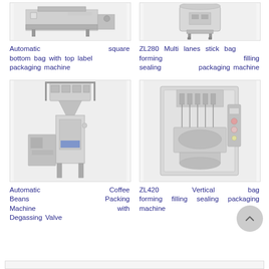[Figure (photo): Automatic square bottom bag with top label packaging machine - industrial packaging equipment]
Automatic square bottom bag with top label packaging machine
[Figure (photo): ZL280 Multi lanes stick bag forming filling sealing packaging machine]
ZL280 Multi lanes stick bag forming filling sealing packaging machine
[Figure (photo): Automatic Coffee Beans Packing Machine with Degassing Valve - tall vertical packaging machine]
Automatic Coffee Beans Packing Machine with Degassing Valve
[Figure (photo): ZL420 Vertical bag forming filling sealing packaging machine]
ZL420 Vertical bag forming filling sealing packaging machine